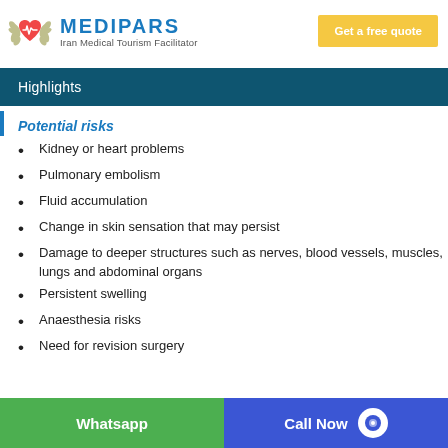MEDIPARS Iran Medical Tourism Facilitator | Get a free quote
Highlights
Potential risks
Kidney or heart problems
Pulmonary embolism
Fluid accumulation
Change in skin sensation that may persist
Damage to deeper structures such as nerves, blood vessels, muscles, lungs and abdominal organs
Persistent swelling
Anaesthesia risks
Need for revision surgery
Whatsapp | Call Now